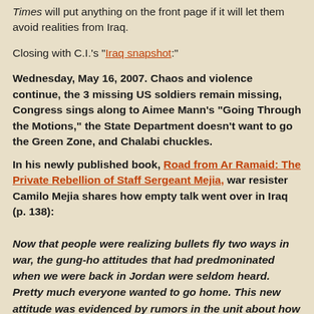Times will put anything on the front page if it will let them avoid realities from Iraq.
Closing with C.I.'s "Iraq snapshot:"
Wednesday, May 16, 2007. Chaos and violence continue, the 3 missing US soldiers remain missing, Congress sings along to Aimee Mann's "Going Through the Motions," the State Department doesn't want to go the Green Zone, and Chalabi chuckles.
In his newly published book, Road from Ar Ramaid: The Private Rebellion of Staff Sergeant Mejia, war resister Camilo Mejia shares how empty talk went over in Iraq (p. 138):
Now that people were realizing bullets fly two ways in war, the gung-ho attitudes that had predmoninated when we were back in Jordan were seldom heard. Pretty much everyone wanted to go home. This new attitude was evidenced by rumors in the unit about how this political officer that often came to visit kept trying to